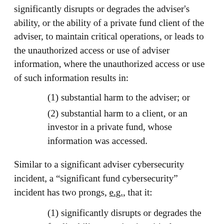significantly disrupts or degrades the adviser's ability, or the ability of a private fund client of the adviser, to maintain critical operations, or leads to the unauthorized access or use of adviser information, where the unauthorized access or use of such information results in:
(1) substantial harm to the adviser; or
(2) substantial harm to a client, or an investor in a private fund, whose information was accessed.
Similar to a significant adviser cybersecurity incident, a “significant fund cybersecurity” incident has two prongs, e.g., that it:
(1) significantly disrupts or degrades the fund’s ability to maintain critical operations; or